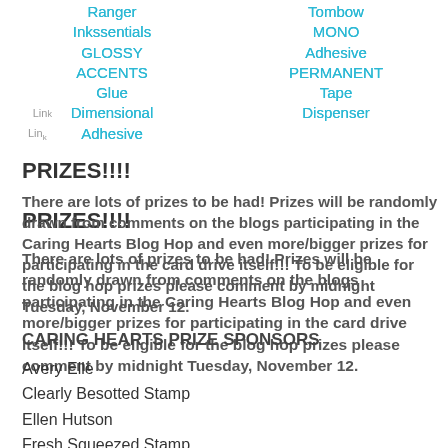Ranger Inkssentials GLOSSY ACCENTS Glue Dimensional Adhesive
Tombow MONO Adhesive PERMANENT Tape Dispenser
PRIZES!!!!
There are lots of prizes to be had! Prizes will be randomly drawn from comments on the blogs participating in the Caring Hearts Blog Hop and even more/bigger prizes for participating in the card drive itself!!! To be eligible for the blog hop prizes please comment by midnight Tuesday, November 12.
CARING HEARTS PRIZE SPONSORS
Avery Elle
Clearly Besotted Stamp
Ellen Hutson
Fresh Squeezed Stamp